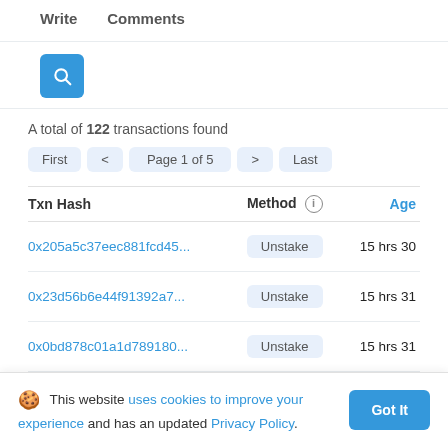Write   Comments
[Figure (other): Blue search button with magnifying glass icon]
A total of 122 transactions found
First  <  Page 1 of 5  >  Last
| Txn Hash | Method (i) | Age |
| --- | --- | --- |
| 0x205a5c37eec881fcd45... | Unstake | 15 hrs 30 |
| 0x23d56b6e44f91392a7... | Unstake | 15 hrs 31 |
| 0x0bd878c01a1d789180... | Unstake | 15 hrs 31 |
This website uses cookies to improve your experience and has an updated Privacy Policy. Got It